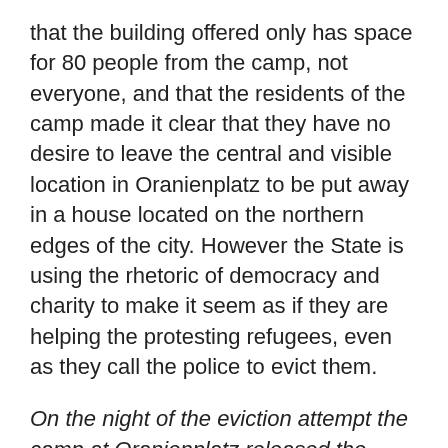that the building offered only has space for 80 people from the camp, not everyone, and that the residents of the camp made it clear that they have no desire to leave the central and visible location in Oranienplatz to be put away in a house located on the northern edges of the city. However the State is using the rhetoric of democracy and charity to make it seem as if they are helping the protesting refugees, even as they call the police to evict them.
On the night of the eviction attempt the camp at Oranienplatz released the following statement:
“Today 24/11 in the early evening the refugee camp was almost evacuated by the police. The district mayor – Monika Herrmann of the Greens – has